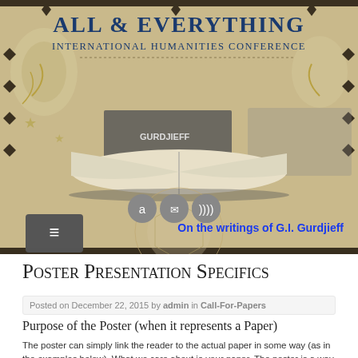[Figure (illustration): Header banner for All & Everything International Humanities Conference website, showing an open book with 'GURDJIEFF' text on spine, decorative background with stars and geometric patterns, and social media icons (Amazon, email, RSS). Text reads 'All & Everything International Humanities Conference' and 'On the writings of G.I. Gurdjieff']
Poster Presentation Specifics
Posted on December 22, 2015 by admin in Call-For-Papers
Purpose of the Poster (when it represents a Paper)
The poster can simply link the reader to the actual paper in some way (as in the examples below). What we care about is your paper. The poster is a way for readers to see that this paper is part of the conference, available to read,